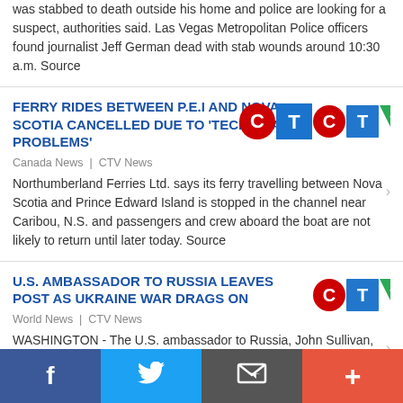was stabbed to death outside his home and police are looking for a suspect, authorities said. Las Vegas Metropolitan Police officers found journalist Jeff German dead with stab wounds around 10:30 a.m. Source
FERRY RIDES BETWEEN P.E.I AND NOVA SCOTIA CANCELLED DUE TO 'TECHNICAL PROBLEMS'
Canada News | CTV News
Northumberland Ferries Ltd. says its ferry travelling between Nova Scotia and Prince Edward Island is stopped in the channel near Caribou, N.S. and passengers and crew aboard the boat are not likely to return until later today. Source
U.S. AMBASSADOR TO RUSSIA LEAVES POST AS UKRAINE WAR DRAGS ON
World News | CTV News
WASHINGTON - The U.S. ambassador to Russia, John Sullivan, ended his tenure as America's top diplomat in Moscow on Sunday after nearly three years, spanning the Trump and Biden
f  [Twitter bird]  [News icon]  +